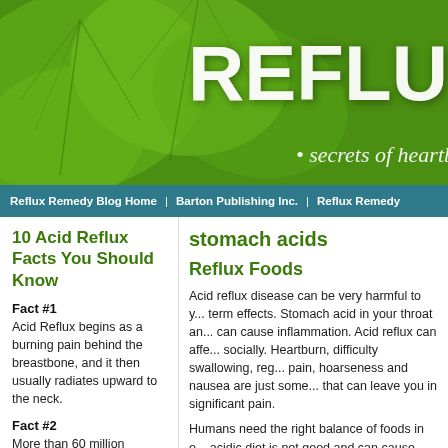[Figure (illustration): Green leaf background banner with 'REFLUX' title text and 'secrets of heartb...' subtitle]
Reflux Remedy Blog Home  |  Barton Publishing Inc.  |  Reflux Remedy
10 Acid Reflux Facts You Should Know
stomach acids
Reflux Foods
Fact #1
Acid Reflux begins as a burning pain behind the breastbone, and it then usually radiates upward to the neck.
Fact #2
More than 60 million American adults suffer from acid reflux
Acid reflux disease can be very harmful to y... term effects. Stomach acid in your throat an... can cause inflammation. Acid reflux can affe... socially. Heartburn, difficulty swallowing, reg... pain, hoarseness and nausea are just some... that can leave you in significant pain.
Humans need the right balance of foods in o... acidic diet is not good and can cause acid re... kinds of food you eat are closely linked to ac...